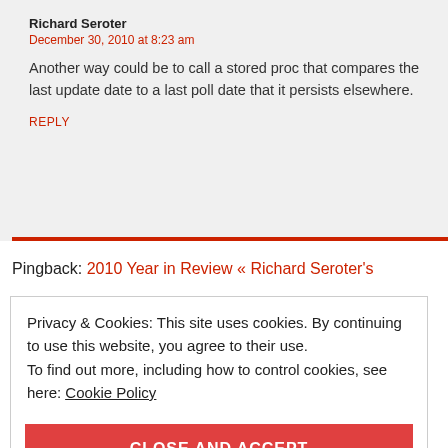Richard Seroter
December 30, 2010 at 8:23 am
Another way could be to call a stored proc that compares the last update date to a last poll date that it persists elsewhere.
REPLY
Pingback: 2010 Year in Review « Richard Seroter's
Privacy & Cookies: This site uses cookies. By continuing to use this website, you agree to their use.
To find out more, including how to control cookies, see here: Cookie Policy
CLOSE AND ACCEPT